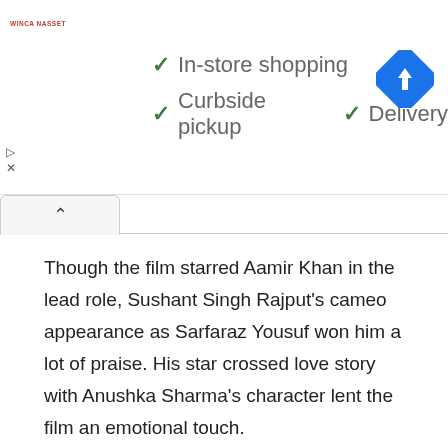[Figure (screenshot): Advertisement banner showing store options: In-store shopping, Curbside pickup, Delivery with green checkmarks, a store logo on the left and a blue diamond navigation icon on the right.]
Though the film starred Aamir Khan in the lead role, Sushant Singh Rajput’s cameo appearance as Sarfaraz Yousuf won him a lot of praise. His star crossed love story with Anushka Sharma’s character lent the film an emotional touch.
Detective Byomkesh Bakshy! – 2015
In a contemporary interpretation of war torn Calcutta during the 1940 s, the film follows the first